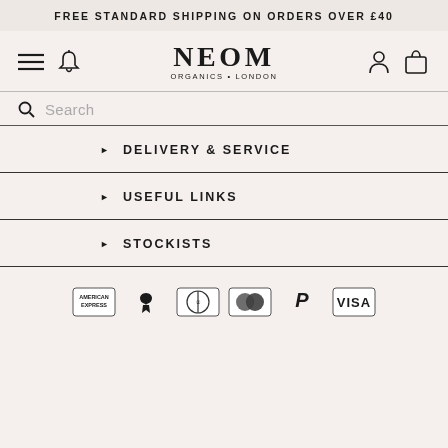FREE STANDARD SHIPPING ON ORDERS OVER £40
[Figure (logo): NEOM Organics London logo with hamburger menu, bell icon, user icon, and bag icon navigation]
Search
DELIVERY & SERVICE
USEFUL LINKS
STOCKISTS
[Figure (other): Payment method icons: American Express, Apple Pay, Diners Club, Mastercard, PayPal, Visa]